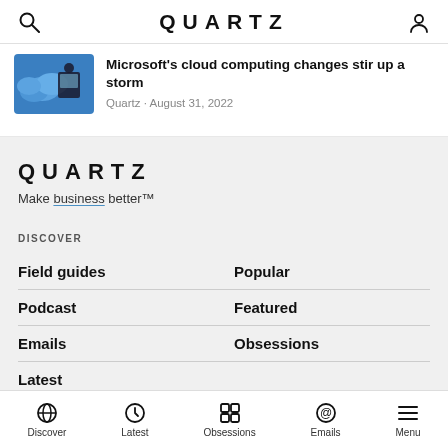QUARTZ
Microsoft's cloud computing changes stir up a storm
Quartz · August 31, 2022
QUARTZ
Make business better™
DISCOVER
Field guides
Popular
Podcast
Featured
Emails
Obsessions
Latest
Discover   Latest   Obsessions   Emails   Menu